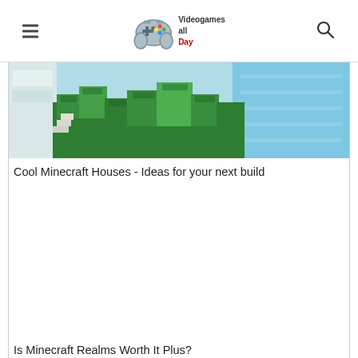Videogames all Day
[Figure (screenshot): Minecraft screenshot showing green leafy terrain blocks with a blue sky/water area, viewed from above at an angle]
Cool Minecraft Houses - Ideas for your next build
[Figure (other): Advertisement or empty content area]
Is Minecraft Realms Worth It Plus?